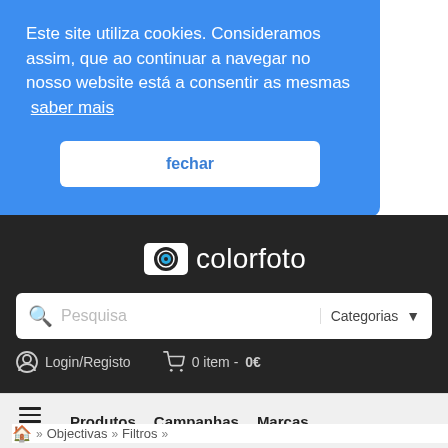Este site utiliza cookies. Consideramos assim, que ao continuar a navegar no nosso website está a consentir as mesmas saber mais
fechar
[Figure (logo): Colorfoto logo with camera eye icon on dark background]
Pesquisa  Categorias
Login/Registo   0 item - 0€
MENU  Produtos  Campanhas  Marcas
» Objectivas » Filtros »